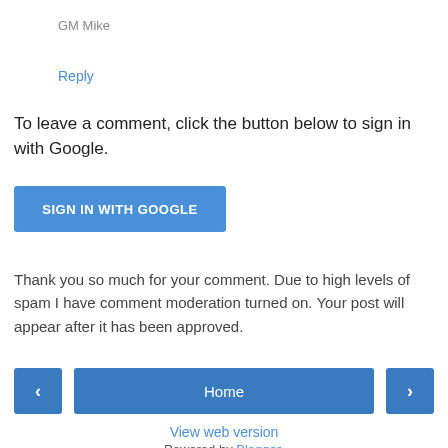GM Mike
Reply
To leave a comment, click the button below to sign in with Google.
SIGN IN WITH GOOGLE
Thank you so much for your comment. Due to high levels of spam I have comment moderation turned on. Your post will appear after it has been approved.
< Home > View web version Powered by Blogger.